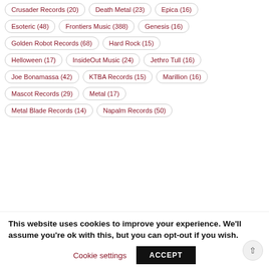Crusader Records (20)
Death Metal (23)
Epica (16)
Esoteric (48)
Frontiers Music (388)
Genesis (16)
Golden Robot Records (68)
Hard Rock (15)
Helloween (17)
InsideOut Music (24)
Jethro Tull (16)
Joe Bonamassa (42)
KTBA Records (15)
Marillion (16)
Mascot Records (29)
Metal (17)
Metal Blade Records (14)
Napalm Records (50)
This website uses cookies to improve your experience. We'll assume you're ok with this, but you can opt-out if you wish.
Cookie settings | ACCEPT